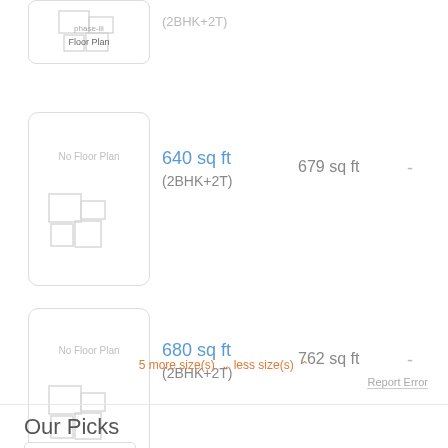[Figure (illustration): Floor plan card showing 'phase-iii Floor Plan' label with a small floor plan icon]
(2BHK+2T)
[Figure (illustration): No Floor Plan placeholder card with faint floor plan icon]
640 sq ft (2BHK+2T)  679 sq ft  -
[Figure (illustration): No Floor Plan placeholder card with faint floor plan icon]
680 sq ft (2BHK+2T)  762 sq ft  -
5 more size(s) ∨less size(s) ∧
Report Error
Our Picks